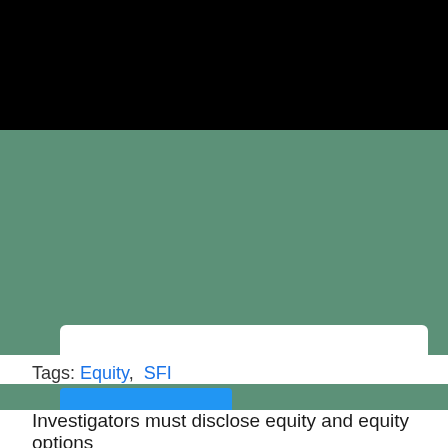[Figure (screenshot): Black navigation bar at top of webpage]
[Figure (screenshot): Green search section with a white rounded search input box and a blue Search button]
Tags:  Equity,  SFI
Investigators must disclose equity and equity options